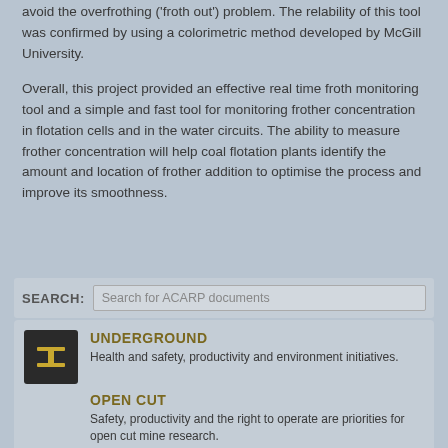avoid the overfrothing ('froth out') problem. The relability of this tool was confirmed by using a colorimetric method developed by McGill University.
Overall, this project provided an effective real time froth monitoring tool and a simple and fast tool for monitoring frother concentration in flotation cells and in the water circuits. The ability to measure frother concentration will help coal flotation plants identify the amount and location of frother addition to optimise the process and improve its smoothness.
SEARCH: Search for ACARP documents
UNDERGROUND
Health and safety, productivity and environment initiatives.
OPEN CUT
Safety, productivity and the right to operate are priorities for open cut mine research.